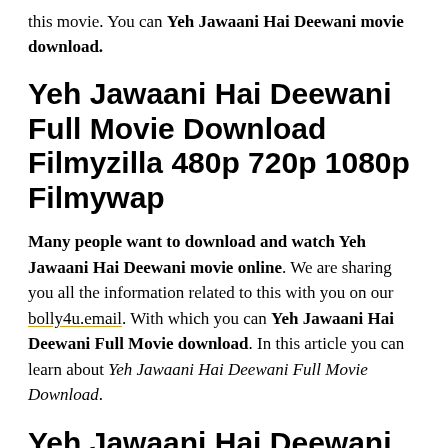this movie. You can Yeh Jawaani Hai Deewani movie download.
Yeh Jawaani Hai Deewani Full Movie Download Filmyzilla 480p 720p 1080p Filmywap
Many people want to download and watch Yeh Jawaani Hai Deewani movie online. We are sharing you all the information related to this with you on our bolly4u.email. With which you can Yeh Jawaani Hai Deewani Full Movie download. In this article you can learn about Yeh Jawaani Hai Deewani Full Movie Download.
Yeh Jawaani Hai Deewani Movie Full Details